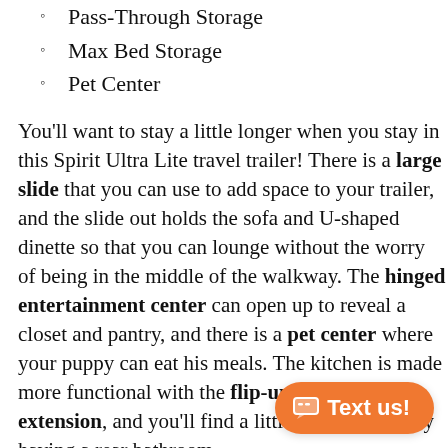Pass-Through Storage
Max Bed Storage
Pet Center
You'll want to stay a little longer when you stay in this Spirit Ultra Lite travel trailer! There is a large slide that you can use to add space to your trailer, and the slide out holds the sofa and U-shaped dinette so that you can lounge without the worry of being in the middle of the walkway. The hinged entertainment center can open up to reveal a closet and pantry, and there is a pet center where your puppy can eat his meals. The kitchen is made more functional with the flip-up countertop extension, and you'll find a little extra privacy by having a rear bathroom.
Raise your spirits with the Coachmen Spirit Ultra Lite travel trailer! For whatever type of outing you